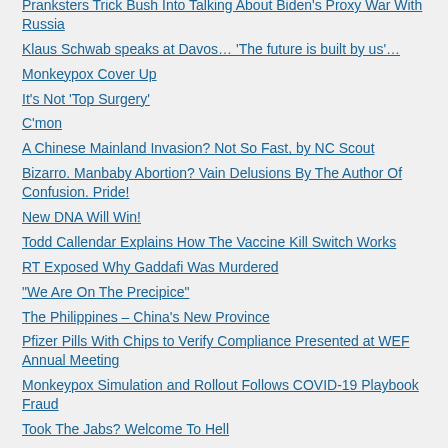Pranksters Trick Bush Into Talking About Biden's Proxy War With Russia
Klaus Schwab speaks at Davos… 'The future is built by us'…
Monkeypox Cover Up
It's Not 'Top Surgery'
C'mon
A Chinese Mainland Invasion? Not So Fast, by NC Scout
Bizarro. Manbaby Abortion? Vain Delusions By The Author Of Confusion. Pride!
New DNA Will Win!
Todd Callendar Explains How The Vaccine Kill Switch Works
RT Exposed Why Gaddafi Was Murdered
“We Are On The Precipice”
The Philippines – China’s New Province
Pfizer Pills With Chips to Verify Compliance Presented at WEF Annual Meeting
Monkeypox Simulation and Rollout Follows COVID-19 Playbook Fraud
Took The Jabs? Welcome To Hell